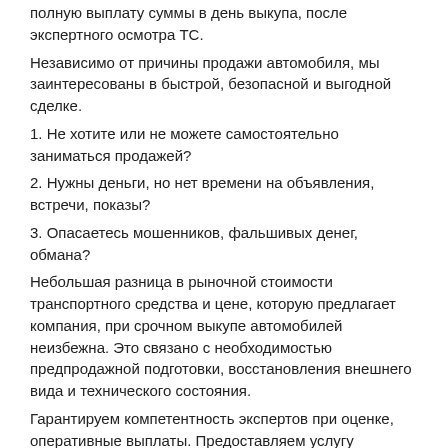полную выплату суммы в день выкупа, после экспертного осмотра ТС.
Независимо от причины продажи автомобиля, мы заинтересованы в быстрой, безопасной и выгодной сделке.
1. Не хотите или не можете самостоятельно заниматься продажей?
2. Нужны деньги, но нет времени на объявления, встречи, показы?
3. Опасаетесь мошенников, фальшивых денег, обмана?
Небольшая разница в рыночной стоимости транспортного средства и цене, которую предлагает компания, при срочном выкупе автомобилей неизбежна. Это связано с необходимостью предпродажной подготовки, восстановления внешнего вида и технического состояния.
Гарантируем компетентность экспертов при оценке, оперативные выплаты. Предоставляем услугу срочного выкупа автомобилей, который проводится в течение нескольких часов. Всю сумму вы получите сразу в день обращения.
Обращайтесь в срочный выкуп автомобилей в удобное для вас время!